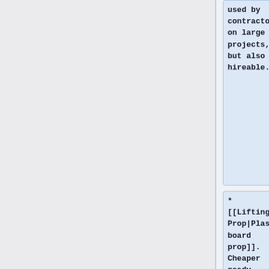used by contractors on large projects, but also hireable.
* [[Lifting Prop|Plasterboard prop]]. Cheaper ready made solution.
* [[Dead_man_prop|DIY prop]] or dead man: quickly made from a